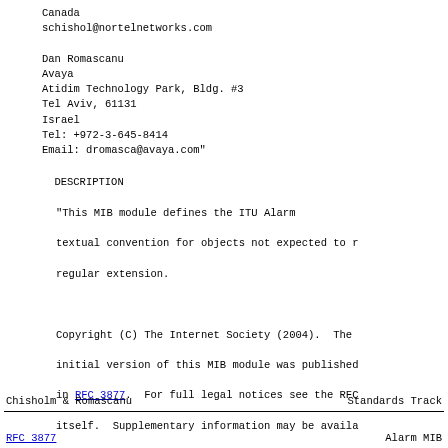Canada
schishol@nortelnetworks.com

Dan Romascanu
Avaya
Atidim Technology Park, Bldg. #3
Tel Aviv, 61131
Israel
Tel: +972-3-645-8414
Email: dromasca@avaya.com"
DESCRIPTION
    "This MIB module defines the ITU Alarm
    textual convention for objects not expected to r
    regular extension.

    Copyright (C) The Internet Society (2004).  The
    initial version of this MIB module was published
    in RFC 3877.  For full legal notices see the RFC
    itself.  Supplementary information may be availa
    http://www.ietf.org/copyrights/ianamib.html"
REVISION    "200409090000Z"  -- September 09, 2004
DESCRIPTION
    "Initial version, published as RFC 3877."
Chisholm & Romascanu          Standards Track
RFC 3877                      Alarm MIB